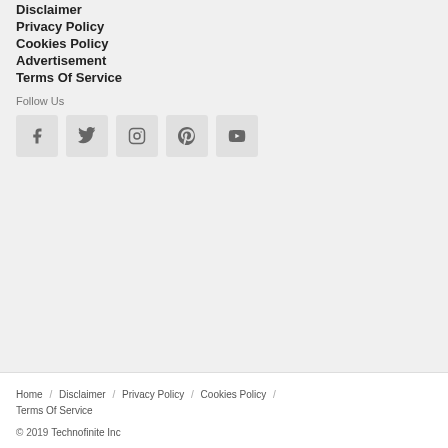Disclaimer
Privacy Policy
Cookies Policy
Advertisement
Terms Of Service
Follow Us
[Figure (infographic): Row of 5 social media icon boxes: Facebook, Twitter, Instagram, Pinterest, YouTube]
Home / Disclaimer / Privacy Policy / Cookies Policy / Terms Of Service
© 2019 Technofinite Inc